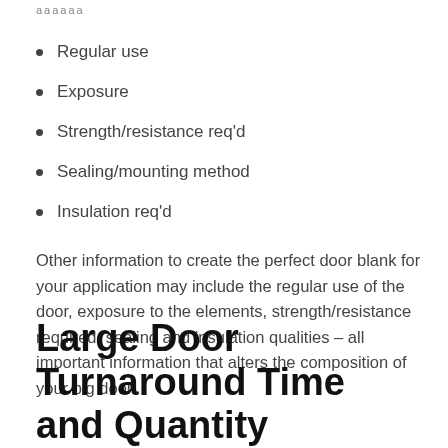ааааааа
Regular use
Exposure
Strength/resistance req'd
Sealing/mounting method
Insulation req'd
Other information to create the perfect door blank for your application may include the regular use of the door, exposure to the elements, strength/resistance required, sealing and insulation qualities – all important information that alters the composition of your big door.
Large Door Turnaround Time and Quantity